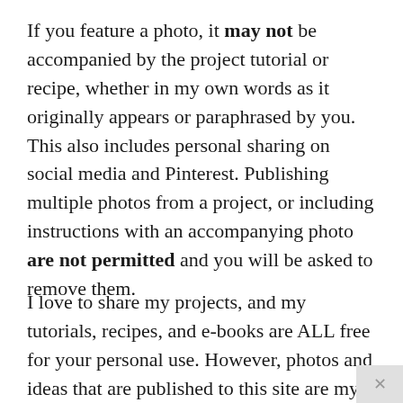If you feature a photo, it may not be accompanied by the project tutorial or recipe, whether in my own words as it originally appears or paraphrased by you. This also includes personal sharing on social media and Pinterest. Publishing multiple photos from a project, or including instructions with an accompanying photo are not permitted and you will be asked to remove them.
I love to share my projects, and my tutorials, recipes, and e-books are ALL free for your personal use. However, photos and ideas that are published to this site are my protected